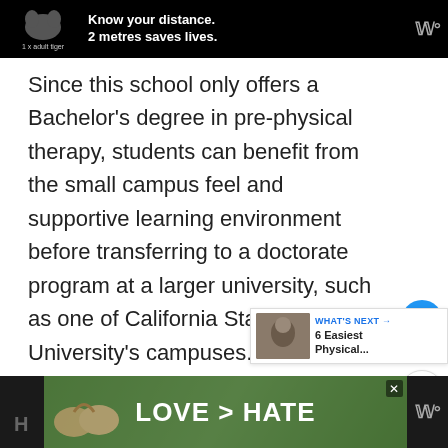[Figure (other): Top advertisement banner: black background with tiger icon, text '1 x adult tiger', 'Know your distance. 2 metres saves lives.' and a Webby/WM logo on the right.]
Since this school only offers a Bachelor's degree in pre-physical therapy, students can benefit from the small campus feel and supportive learning environment before transferring to a doctorate program at a larger university, such as one of California State University's campuses. Point Loma Nazarene University also provides a private Christian education, for students who are looking for Christian community.
[Figure (other): What's Next sidebar widget with a thumbnail image and text: 'WHAT'S NEXT → 6 Easiest Physical...']
[Figure (other): Bottom advertisement banner with 'LOVE > HATE' text on green background with hands making a heart shape.]